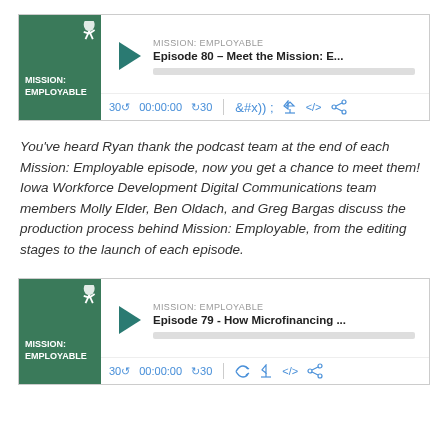[Figure (screenshot): Podcast player widget for Mission: Employable Episode 80 – Meet the Mission: E... with play button, progress bar, and controls (30s back, timestamp 00:00:00, 30s forward, subscribe, download, embed, share)]
You've heard Ryan thank the podcast team at the end of each Mission: Employable episode, now you get a chance to meet them! Iowa Workforce Development Digital Communications team members Molly Elder, Ben Oldach, and Greg Bargas discuss the production process behind Mission: Employable, from the editing stages to the launch of each episode.
[Figure (screenshot): Podcast player widget for Mission: Employable Episode 79 - How Microfinancing ... with play button, progress bar, and controls (30s back, timestamp 00:00:00, 30s forward, subscribe, download, embed, share)]